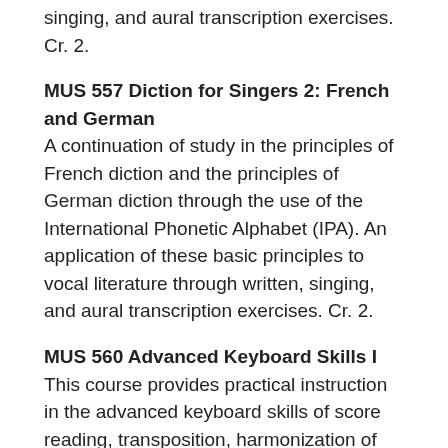singing, and aural transcription exercises. Cr. 2.
MUS 557 Diction for Singers 2: French and German
A continuation of study in the principles of French diction and the principles of German diction through the use of the International Phonetic Alphabet (IPA). An application of these basic principles to vocal literature through written, singing, and aural transcription exercises. Cr. 2.
MUS 560 Advanced Keyboard Skills I
This course provides practical instruction in the advanced keyboard skills of score reading, transposition, harmonization of melodies, and realization of continuo. These performance skills will be taught with emphasis on the preparation of examples outside the class as well as the active